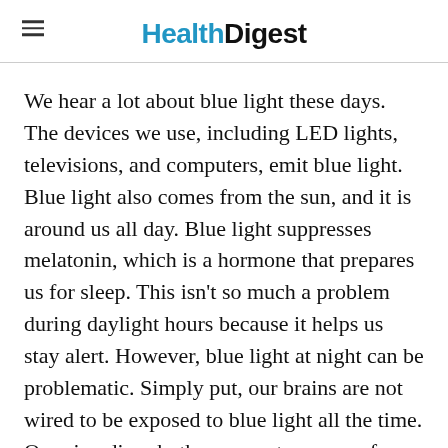HealthDigest
We hear a lot about blue light these days. The devices we use, including LED lights, televisions, and computers, emit blue light. Blue light also comes from the sun, and it is around us all day. Blue light suppresses melatonin, which is a hormone that prepares us for sleep. This isn't so much a problem during daylight hours because it helps us stay alert. However, blue light at night can be problematic. Simply put, our brains are not wired to be exposed to blue light all the time. Our circadian rhythms operate on cues from light and darkness